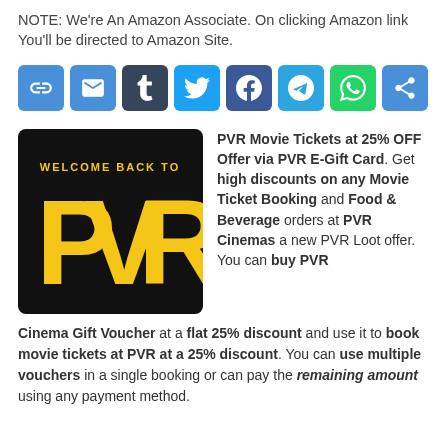NOTE: We're An Amazon Associate. On clicking Amazon link You'll be directed to Amazon Site.
[Figure (infographic): Social sharing buttons: link/copy, email, Tumblr, Twitter, Facebook, Telegram, WhatsApp, Share+]
[Figure (logo): PVR Cinema logo: black background with yellow text 'WELCOME BACK TO PVR']
PVR Movie Tickets at 25% OFF Offer via PVR E-Gift Card. Get high discounts on any Movie Ticket Booking and Food & Beverage orders at PVR Cinemas a new PVR Loot offer. You can buy PVR Cinema Gift Voucher at a flat 25% discount and use it to book movie tickets at PVR at a 25% discount. You can use multiple vouchers in a single booking or can pay the remaining amount using any payment method.